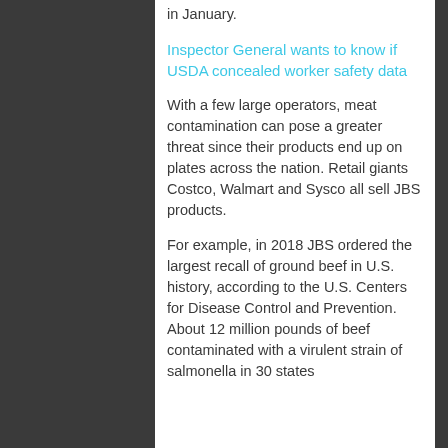in January.
Inspector General wants to know if USDA concealed worker safety data
With a few large operators, meat contamination can pose a greater threat since their products end up on plates across the nation. Retail giants Costco, Walmart and Sysco all sell JBS products.
For example, in 2018 JBS ordered the largest recall of ground beef in U.S. history, according to the U.S. Centers for Disease Control and Prevention. About 12 million pounds of beef contaminated with a virulent strain of salmonella in 30 states